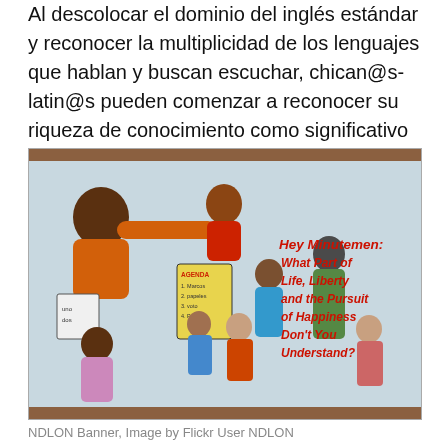Al descolocar el dominio del inglés estándar y reconocer la multiplicidad de los lenguajes que hablan y buscan escuchar,  chican@s-latin@s pueden comenzar a reconocer su riqueza de conocimiento como significativo en vez sin sentido.
[Figure (photo): NDLON Banner illustration showing diverse group of people with text reading 'Hey Minutemen: What Part of Life, Liberty and the Pursuit of Happiness Don't You Understand?']
NDLON Banner, Image by Flickr User NDLON